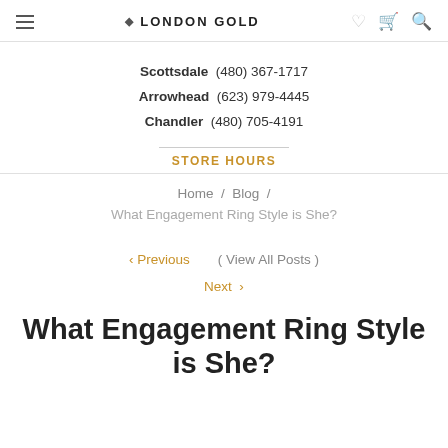London Gold — Navigation bar with hamburger menu, logo, and icons (heart, cart, search)
Scottsdale  (480) 367-1717
Arrowhead  (623) 979-4445
Chandler  (480) 705-4191
STORE HOURS
Home / Blog /
What Engagement Ring Style is She?
‹ Previous   ( View All Posts )
Next ›
What Engagement Ring Style is She?